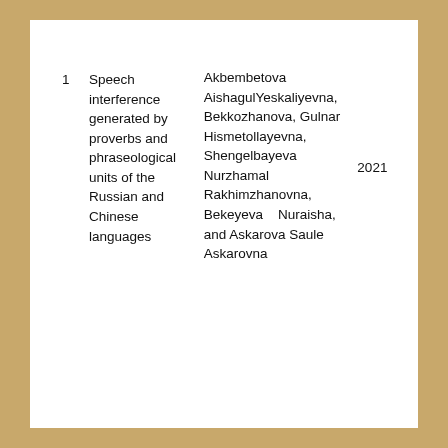| # | Title | Authors | Year |
| --- | --- | --- | --- |
| 1 | Speech interference generated by proverbs and phraseological units of the Russian and Chinese languages | Akbembetova AishagulYeskaliyevna, Bekkozhanova, Gulnar Hismetollayevna, Shengelbayeva Nurzhamal Rakhimzhanovna, Bekeyeva Nuraisha, and Askarova Saule Askarovna | 2021 |